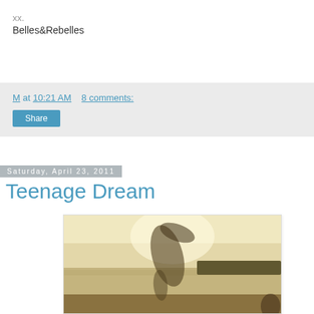xx.
Belles&Rebelles
M at 10:21 AM    8 comments:
Share
Saturday, April 23, 2011
Teenage Dream
[Figure (photo): Sepia-toned outdoor photo of a female figure bending forward near a lake or river, with trees silhouetted in the background and bright backlight creating a hazy atmospheric effect.]